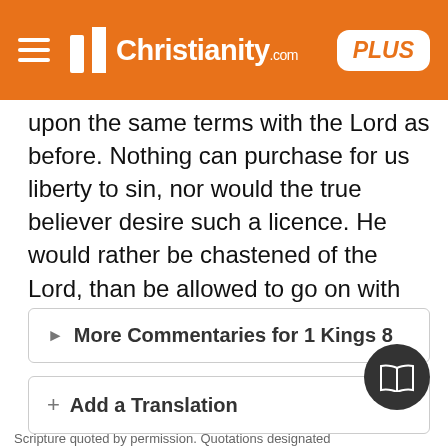Christianity.com PLUS
upon the same terms with the Lord as before. Nothing can purchase for us liberty to sin, nor would the true believer desire such a licence. He would rather be chastened of the Lord, than be allowed to go on with ease and prosperity in sin.
More Commentaries for 1 Kings 8
Add a Translation
Scripture quoted by permission. Quotations designated